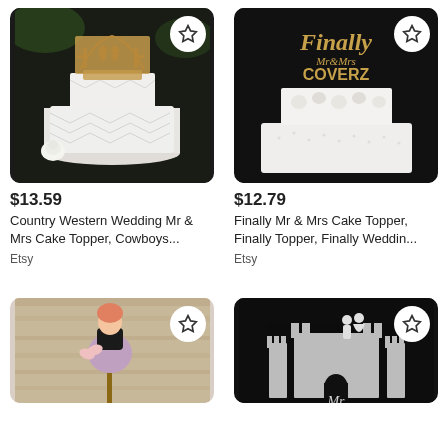[Figure (photo): White wedding cake with wooden Mr & Mrs cowboy/western themed cake topper on dark background]
$13.59
Country Western Wedding Mr & Mrs Cake Topper, Cowboys...
Etsy
[Figure (photo): White tiered wedding cake with wooden 'Finally Mr & Mrs COVERZ' cake topper on dark background]
$12.79
Finally Mr & Mrs Cake Topper, Finally Topper, Finally Weddin...
Etsy
[Figure (photo): Small figurine cake topper showing a couple on a stick with light wood background]
[Figure (photo): Dark background with silver castle and Mr & Mrs silhouette cake topper (partially visible)]